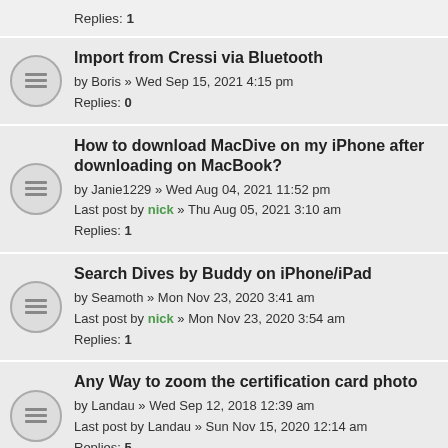Replies: 1
Import from Cressi via Bluetooth
by Boris » Wed Sep 15, 2021 4:15 pm
Replies: 0
How to download MacDive on my iPhone after downloading on MacBook?
by Janie1229 » Wed Aug 04, 2021 11:52 pm
Last post by nick » Thu Aug 05, 2021 3:10 am
Replies: 1
Search Dives by Buddy on iPhone/iPad
by Seamoth » Mon Nov 23, 2020 3:41 am
Last post by nick » Mon Nov 23, 2020 3:54 am
Replies: 1
Any Way to zoom the certification card photo
by Landau » Wed Sep 12, 2018 12:39 am
Last post by Landau » Sun Nov 15, 2020 12:14 am
Replies: 5
Import from Ratio IX3M through bluetooth
by mdeinum » Thu Sep 24, 2020 3:06 am
Last post by mdeinum » Thu Sep 24, 2020 1:32 pm
Replies: 1